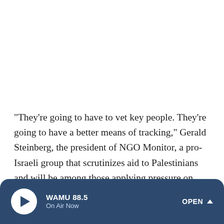"They're going to have to vet key people. They're going to have a better means of tracking," Gerald Steinberg, the president of NGO Monitor, a pro-Israeli group that scrutinizes aid to Palestinians and will be among those applying pressure on groups to remain clean, told NPR. "Humanitarian aid agencies don't like the idea they're going
WAMU 88.5 | On Air Now | OPEN